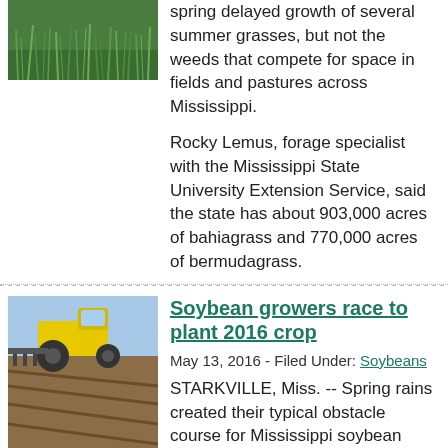[Figure (photo): Green grass close-up photo thumbnail]
spring delayed growth of several summer grasses, but not the weeds that compete for space in fields and pastures across Mississippi.
Rocky Lemus, forage specialist with the Mississippi State University Extension Service, said the state has about 903,000 acres of bahiagrass and 770,000 acres of bermudagrass.
[Figure (photo): Tractor planting soybeans in a field]
Soybean growers race to plant 2016 crop
May 13, 2016 - Filed Under: Soybeans
STARKVILLE, Miss. -- Spring rains created their typical obstacle course for Mississippi soybean growers trying to get fields planted as soon as possible.